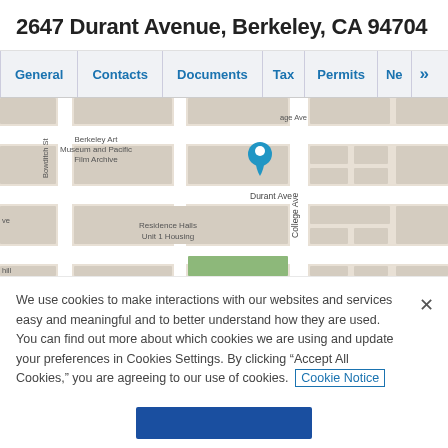2647 Durant Avenue, Berkeley, CA 94704
[Figure (screenshot): Navigation tab bar with tabs: General, Contacts, Documents, Tax, Permits, and a right-arrow indicating more tabs]
[Figure (map): Street map showing intersection near 2647 Durant Avenue, Berkeley CA. Shows Berkeley Art Museum and Pacific Film Archive, Residence Halls Unit 1 Housing, streets including Durant Ave, College Ave, Bowditch St. A blue location pin marks the property.]
We use cookies to make interactions with our websites and services easy and meaningful and to better understand how they are used. You can find out more about which cookies we are using and update your preferences in Cookies Settings. By clicking “Accept All Cookies,” you are agreeing to our use of cookies. Cookie Notice